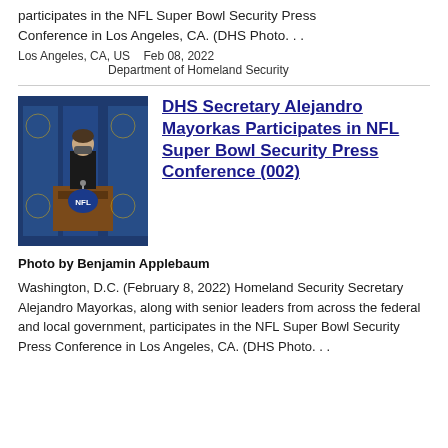participates in the NFL Super Bowl Security Press Conference in Los Angeles, CA. (DHS Photo...
Los Angeles, CA, US   Feb 08, 2022
Department of Homeland Security
[Figure (photo): Person speaking at a podium with NFL logo at an NFL Super Bowl Security Press Conference]
DHS Secretary Alejandro Mayorkas Participates in NFL Super Bowl Security Press Conference (002)
Photo by Benjamin Applebaum
Washington, D.C. (February 8, 2022) Homeland Security Secretary Alejandro Mayorkas, along with senior leaders from across the federal and local government, participates in the NFL Super Bowl Security Press Conference in Los Angeles, CA. (DHS Photo...